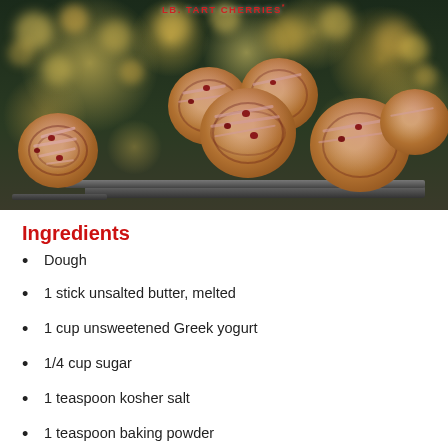[Figure (photo): Cherry sweet rolls/cinnamon rolls with pink glaze drizzle arranged on a dark tray, against a bokeh Christmas tree light background. Text overlay at top reads 'LB. TART CHERRIES']
Ingredients
Dough
1 stick unsalted butter, melted
1 cup unsweetened Greek yogurt
1/4 cup sugar
1 teaspoon kosher salt
1 teaspoon baking powder